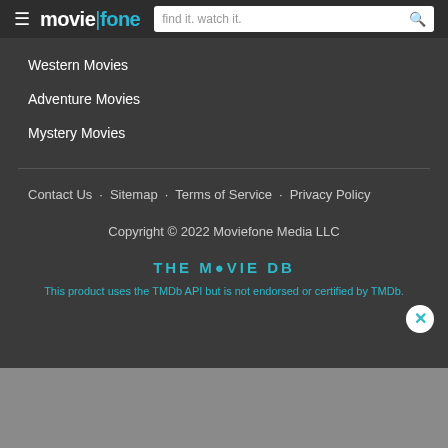moviefone — find it. watch it.
Western Movies
Adventure Movies
Mystery Movies
Contact Us  Sitemap  Terms of Service  Privacy Policy
Copyright © 2022 Moviefone Media LLC
THE MOVIE DB
This product uses the TMDb API but is not endorsed or certified by TMDb.